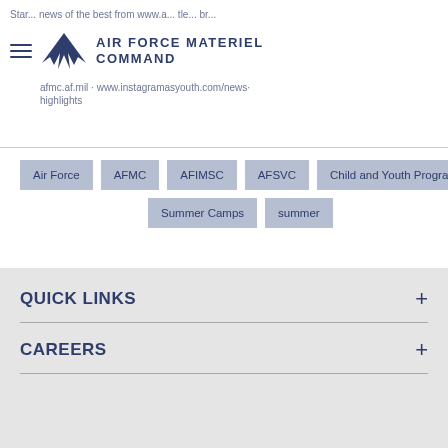Air Force Materiel Command - news highlights
Air Force
AFMC
AFIMSC
AFSVC
Child and Youth Programs
Summer Camps
summer
QUICK LINKS
CAREERS